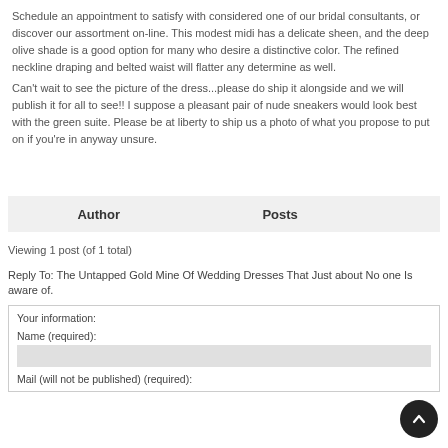Schedule an appointment to satisfy with considered one of our bridal consultants, or discover our assortment on-line. This modest midi has a delicate sheen, and the deep olive shade is a good option for many who desire a distinctive color. The refined neckline draping and belted waist will flatter any determine as well.
Can't wait to see the picture of the dress...please do ship it alongside and we will publish it for all to see!! I suppose a pleasant pair of nude sneakers would look best with the green suite. Please be at liberty to ship us a photo of what you propose to put on if you're in anyway unsure.
| Author | Posts |
| --- | --- |
Viewing 1 post (of 1 total)
Reply To: The Untapped Gold Mine Of Wedding Dresses That Just about No one Is aware of.
Your information:
Name (required):
Mail (will not be published) (required):